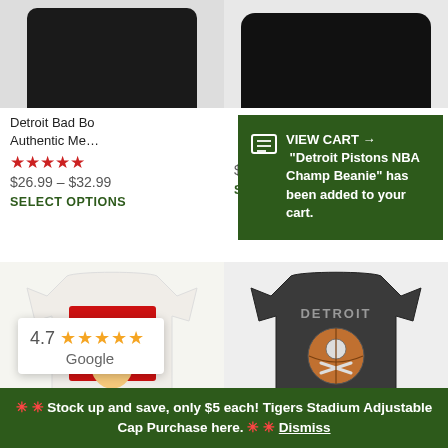[Figure (photo): Dark/black garment product images at top of page, two products side by side]
[Figure (screenshot): Green cart notification popup overlay: VIEW CART arrow Detroit Pistons NBA Champ Beanie has been added to your cart.]
Detroit Bad Bo... Authentic Me...
[Figure (other): 5 red star rating]
$26.99 – $32.99
SELECT OPTIONS
$52.99 – $61.99
SELECT OPTIONS
[Figure (photo): White Bad Boys graphic t-shirt with caricature illustration]
[Figure (photo): Dark charcoal Detroit skull basketball graphic t-shirt]
[Figure (other): Google rating widget showing 4.7 stars with orange stars and Google logo]
🔴🔴 Stock up and save, only $5 each! Tigers Stadium Adjustable Cap Purchase here. 🔴🔴 Dismiss